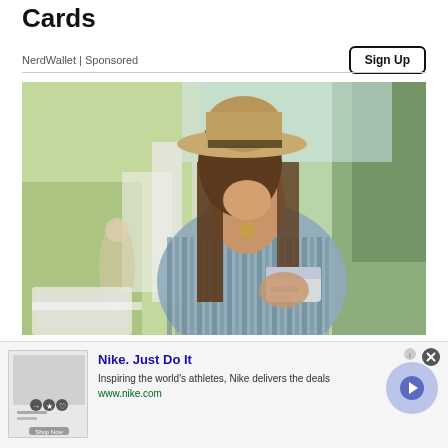Cards
NerdWallet | Sponsored
Sign Up
[Figure (photo): Smiling woman wearing a wide-brimmed hat and off-shoulder striped top, holding a credit card outdoors]
Compare Top Travel Cards That Can Help You Rack Up Miles
Nike. Just Do It
Inspiring the world's athletes, Nike delivers the deals
www.nike.com